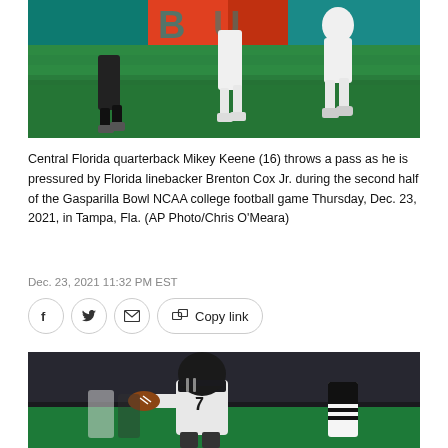[Figure (photo): Action photo from college football game showing legs/feet of players on green field with teal and orange mural in background]
Central Florida quarterback Mikey Keene (16) throws a pass as he is pressured by Florida linebacker Brenton Cox Jr. during the second half of the Gasparilla Bowl NCAA college football game Thursday, Dec. 23, 2021, in Tampa, Fla. (AP Photo/Chris O'Meara)
Dec. 23, 2021 11:32 PM EST
[Figure (photo): UCF quarterback in black helmet and white jersey prepares to throw with referee and crowd in background]